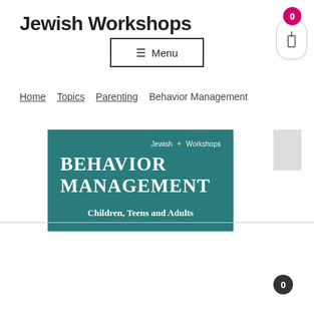Jewish Workshops
≡ Menu
Home · Topics · Parenting · Behavior Management
[Figure (illustration): Jewish Workshops Behavior Management course card — teal/dark green background with white serif text reading BEHAVIOR MANAGEMENT, subtitle Children, Teens and Adults, and Jewish Workshops logo with star/leaf icon top right.]